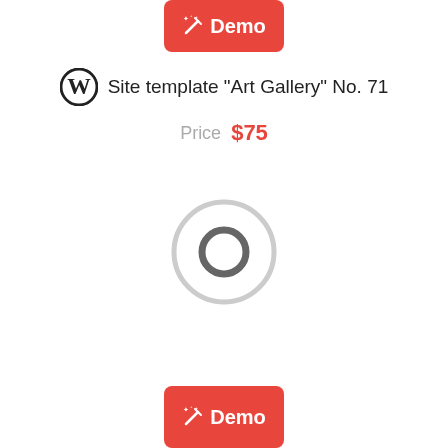[Figure (illustration): Red rounded rectangle button with magic wand icon and 'Demo' text in white, positioned at top center]
Site template "Art Gallery" No. 71
Price  $75
[Figure (illustration): A radio button UI element - a large circle with a smaller filled circle inside, rendered in light grey]
[Figure (illustration): Red rounded rectangle button with magic wand icon and 'Demo' text in white, positioned at bottom center]